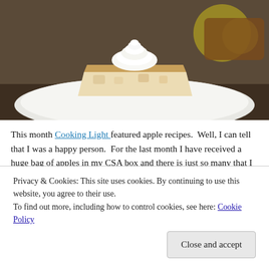[Figure (photo): A slice of Apple Upside-Down Cake topped with whipped cream on a white decorative plate, with apples blurred in the background.]
This month Cooking Light featured apple recipes.  Well, I can tell that I was a happy person.  For the last month I have received a huge bag of apples in my CSA box and there is just so many that I can eat for lunch or a snack.  This Apple Upside- Down Cake caught my eye for more reasons than one.  A one layer cake is great for serving to four...
Privacy & Cookies: This site uses cookies. By continuing to use this website, you agree to their use.
To find out more, including how to control cookies, see here: Cookie Policy